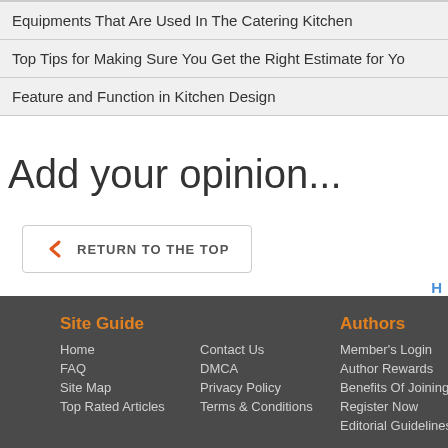Equipments That Are Used In The Catering Kitchen
Top Tips for Making Sure You Get the Right Estimate for Yo
Feature and Function in Kitchen Design
Add your opinion...
RETURN TO THE TOP
H
Site Guide
Home
FAQ
Site Map
Top Rated Articles
Contact Us
DMCA
Privacy Policy
Terms & Conditions
Authors
Member's Login
Author Rewards
Benefits Of Joining
Register Now
Editorial Guidelines